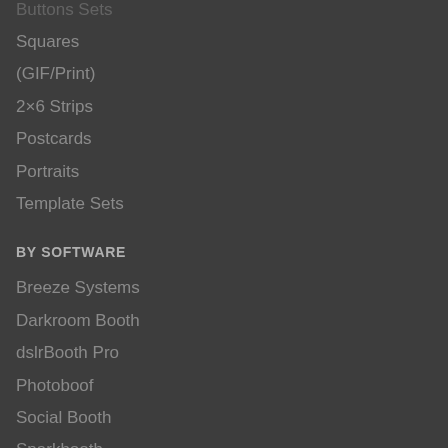Buttons Sets
Squares
(GIF/Print)
2×6 Strips
Postcards
Portraits
Template Sets
BY SOFTWARE
Breeze Systems
Darkroom Booth
dslrBooth Pro
Photoboof
Social Booth
Sparkbooth